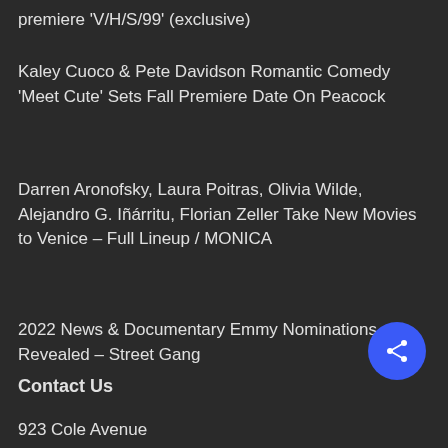premiere 'V/H/S/99' (exclusive)
Kaley Cuoco & Pete Davidson Romantic Comedy 'Meet Cute' Sets Fall Premiere Date On Peacock
Darren Aronofsky, Laura Poitras, Olivia Wilde, Alejandro G. Iñárritu, Florian Zeller Take New Movies to Venice – Full Lineup / MONICA
2022 News & Documentary Emmy Nominations Revealed – Street Gang
Contact Us
923 Cole Avenue